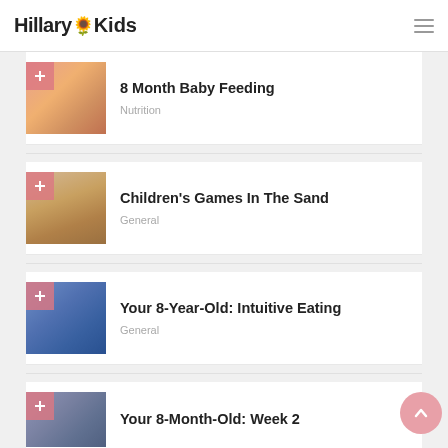HillaryKids
[Figure (screenshot): Website article listing page for HillaryKids blog showing multiple article cards with thumbnails]
8 Month Baby Feeding
Nutrition
Children's Games In The Sand
General
Your 8-Year-Old: Intuitive Eating
General
Your 8-Month-Old: Week 2